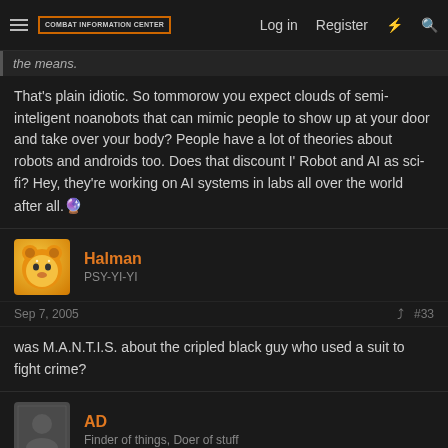Combat Information Center — Log in | Register
the means.
That's plain idiotic. So tommorow you expect clouds of semi-inteligent noanobots that can mimic people to show up at your door and take over your body? People have a lot of theories about robots and androids too. Does that discount I' Robot and AI as sci-fi? Hey, they're working on AI systems in labs all over the world after all. 🔮
Halman
PSY-YI-YI
Sep 7, 2005 #33
was M.A.N.T.I.S. about the cripled black guy who used a suit to fight crime?
AD
Finder of things, Doer of stuff